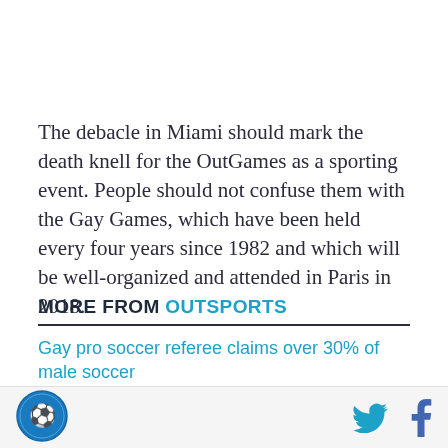The debacle in Miami should mark the death knell for the OutGames as a sporting event. People should not confuse them with the Gay Games, which have been held every four years since 1982 and which will be well-organized and attended in Paris in 2018.
MORE FROM OUTSPORTS
Gay pro soccer referee claims over 30% of male soccer
[Figure (logo): Circular logo with blue background and stylized figure, likely OutSports or related sports organization]